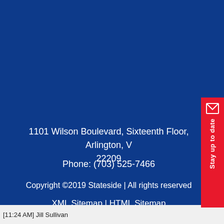1101 Wilson Boulevard, Sixteenth Floor, Arlington, V 22209
Phone: (703) 525-7466
Copyright ©2019 Stateside | All rights reserved
XML Sitemap | HTML Sitemap
[Figure (other): LinkedIn and Twitter social media icons in white on dark blue background]
[Figure (other): Red tab on right side with envelope icon and 'Stay up to date' text rotated vertically]
[11:24 AM] Jill Sullivan